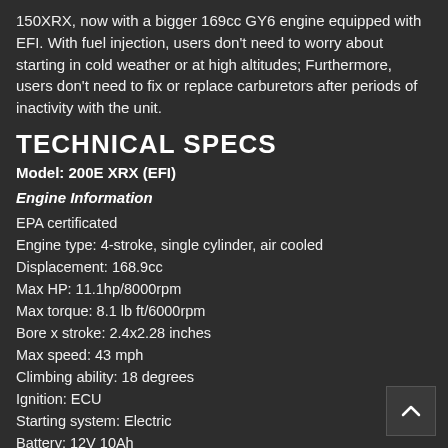150XRX, now with a bigger 169cc GY6 engine equipped with EFI. With fuel injection, users don't need to worry about starting in cold weather or at high altitudes; Furthermore, users don't need to fix or replace carburetors after periods of inactivity with the unit.
TECHNICAL SPECS
Model: 200E XRX (EFI)
Engine Information
EPA certificated
Engine type: 4-stroke, single cylinder, air cooled
Displacement: 168.9cc
Max HP: 11.1hp/8000rpm
Max torque: 8.1 lb ft/6000rpm
Bore x stroke: 2.4x2.28 inches
Max speed: 43 mph
Climbing ability: 18 degrees
Ignition: ECU
Starting system: Electric
Battery: 12V 10Ah